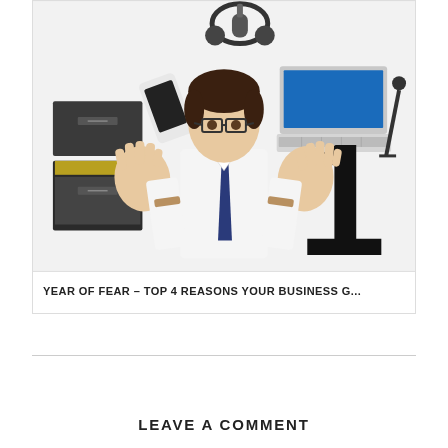[Figure (illustration): A man in a white shirt and dark tie wearing glasses, holding both hands up with palms facing outward in a 'stop' gesture. Around him are floating objects: a filing cabinet on the left, a smartphone, headphones with microphone, a laptop, a microphone stand, and a large number '1' on the right side. White background.]
YEAR OF FEAR – TOP 4 REASONS YOUR BUSINESS G...
LEAVE A COMMENT